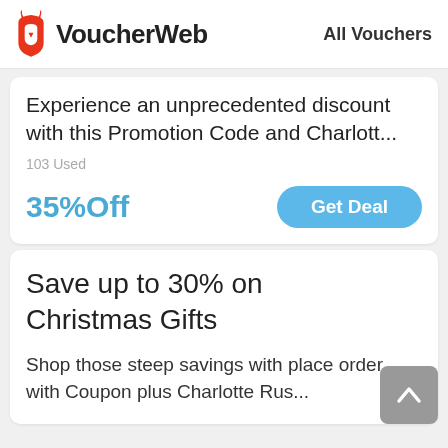VoucherWeb   All Vouchers
Experience an unprecedented discount with this Promotion Code and Charlott...
103 Used
35%Off
Get Deal
Save up to 30% on Christmas Gifts
Shop those steep savings with place order with Coupon plus Charlotte Rus...